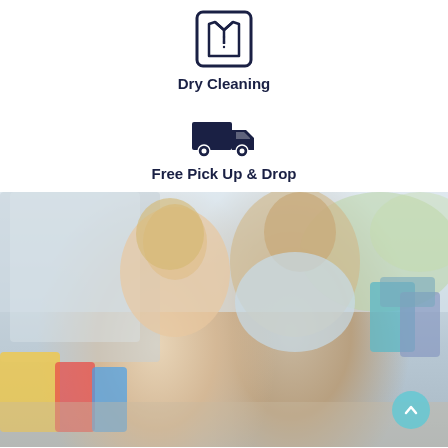[Figure (illustration): Dark navy icon of a dress shirt/formal shirt inside a square border]
Dry Cleaning
[Figure (illustration): Dark navy icon of a delivery truck]
Free Pick Up & Drop
[Figure (photo): A smiling couple carrying shopping bags, looking at each other outdoors]